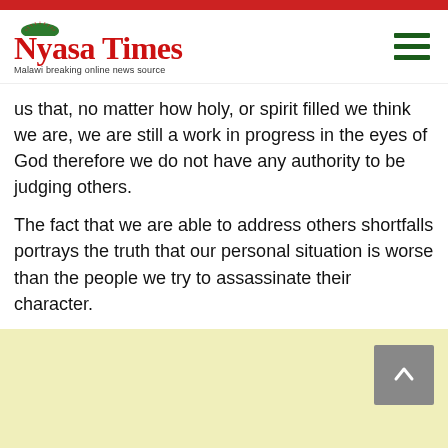Nyasa Times — Malawi breaking online news source
us that, no matter how holy, or spirit filled we think we are, we are still a work in progress in the eyes of God therefore we do not have any authority to be judging others.
The fact that we are able to address others shortfalls portrays the truth that our personal situation is worse than the people we try to assassinate their character.